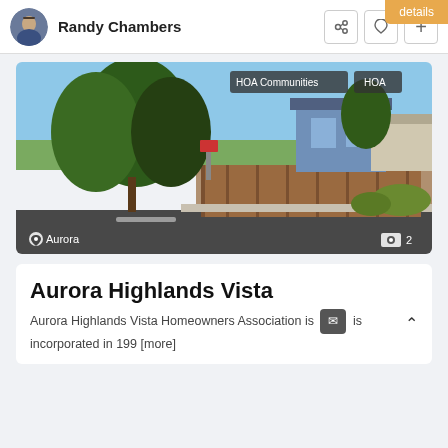details
Randy Chambers
[Figure (photo): Street view photograph of Aurora Highlands Vista neighborhood showing trees, fence, road, houses, and landscaping. Tags: HOA Communities, HOA. Location: Aurora. Photo count: 2]
Aurora Highlands Vista
Aurora Highlands Vista Homeowners Association is incorporated in 199 [more]